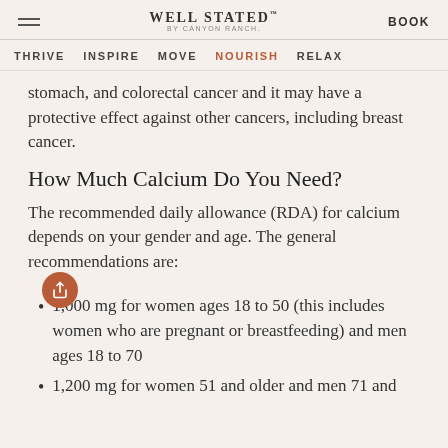WELL STATED BY CANYON RANCH — BOOK
THRIVE   INSPIRE   MOVE   NOURISH   RELAX
stomach, and colorectal cancer and it may have a protective effect against other cancers, including breast cancer.
How Much Calcium Do You Need?
The recommended daily allowance (RDA) for calcium depends on your gender and age. The general recommendations are:
1,000 mg for women ages 18 to 50 (this includes women who are pregnant or breastfeeding) and men ages 18 to 70
1,200 mg for women 51 and older and men 71 and